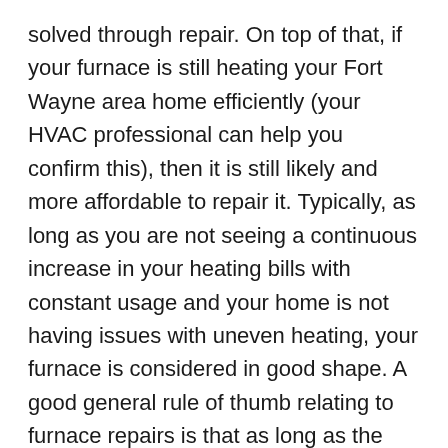solved through repair. On top of that, if your furnace is still heating your Fort Wayne area home efficiently (your HVAC professional can help you confirm this), then it is still likely and more affordable to repair it. Typically, as long as you are not seeing a continuous increase in your heating bills with constant usage and your home is not having issues with uneven heating, your furnace is considered in good shape. A good general rule of thumb relating to furnace repairs is that as long as the repairs you require are less than one-third of the investment of a new heating system and your furnace is in the first half of its expected lifetime, repair is likely your best decision. Keep in mind that even if you are